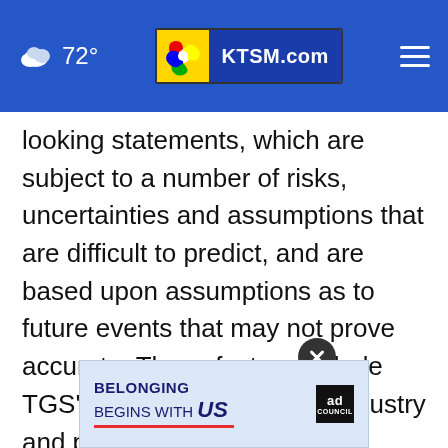72° KTSM.com
looking statements, which are subject to a number of risks, uncertainties and assumptions that are difficult to predict, and are based upon assumptions as to future events that may not prove accurate. These factors include TGS' reliance on a cyclical industry and principal customers, TGS' ability to continue to expand markets for licensing of data, and TGS' ability to acquire and process data product at costs commensurate with profitability, as well as volatility...
[Figure (screenshot): Advertisement banner: 'BELONGING BEGINS WITH US' with Ad Council logo and close button overlay]